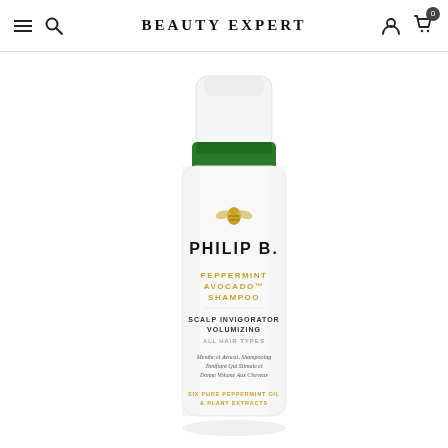BEAUTY EXPERT
[Figure (photo): Philip B. Peppermint Avocado Shampoo bottle — white pump bottle with green top, gold bee emblem, black PHILIP B. brand name, gold PEPPERMINT AVOCADO SHAMPOO text, black SCALP INVIGORATOR VOLUMIZING text, ALL HAIR TYPES, French subtitle text, and gold ingredient callout at bottom]